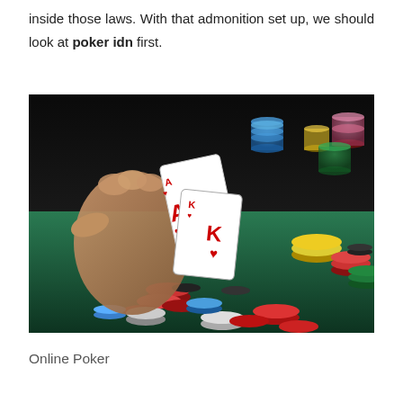inside those laws. With that admonition set up, we should look at poker idn first.
[Figure (photo): A hand holding two playing cards (Ace of hearts and King of hearts) over a green poker table covered with colorful poker chips in the foreground and background.]
Online Poker